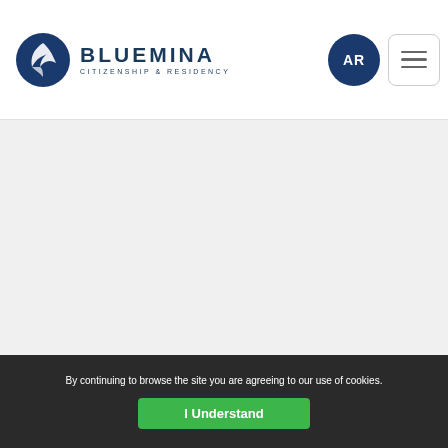[Figure (logo): Bluemina Citizenship & Residency logo with circular icon and text in header]
[Figure (logo): AR language button - dark blue circle with AR text]
[Figure (other): Hamburger menu button - white rounded rectangle with three horizontal lines]
[Figure (logo): Bluemina Citizenship & Residency logo in footer, white version]
Be Global. Be Free.
By continuing to browse the site you are agreeing to our use of cookies.
I Understand